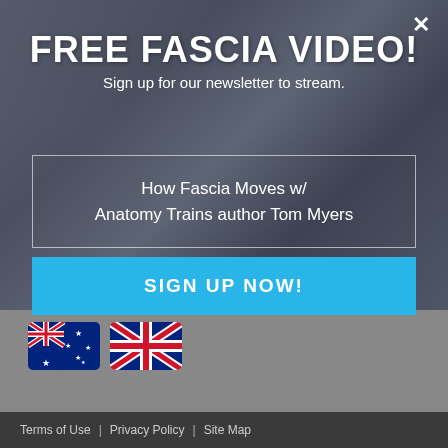[Figure (screenshot): Website popup modal over a blurred photo of a person, with dark overlay]
FREE FASCIA VIDEO!
Sign up for our newsletter to stream.
How Fascia Moves w/ Anatomy Trains author Tom Myers
SIGN UP NOW!
[Figure (illustration): Australian flag emoji]
[Figure (illustration): UK flag emoji]
Terms of Use  |  Privacy Policy  |  Site Map